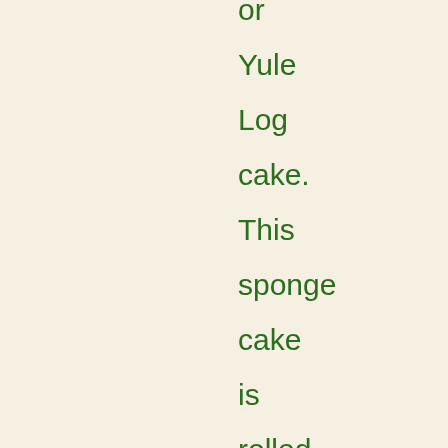or Yule Log cake. This sponge cake is rolled with a chocolate butter cream filling and frosted with a brown